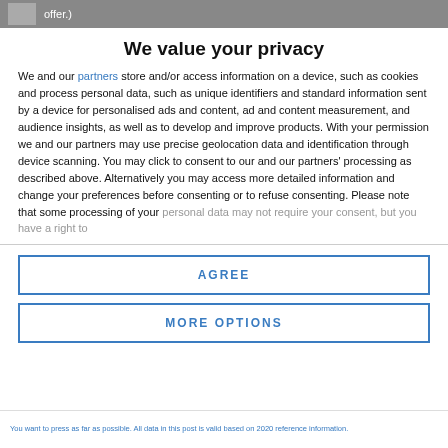[Figure (screenshot): Top grey bar with small image thumbnail and partial text 'offer.)']
We value your privacy
We and our partners store and/or access information on a device, such as cookies and process personal data, such as unique identifiers and standard information sent by a device for personalised ads and content, ad and content measurement, and audience insights, as well as to develop and improve products. With your permission we and our partners may use precise geolocation data and identification through device scanning. You may click to consent to our and our partners' processing as described above. Alternatively you may access more detailed information and change your preferences before consenting or to refuse consenting. Please note that some processing of your personal data may not require your consent, but you have a right to
AGREE
MORE OPTIONS
You want to press as far as possible. All data in this post is valid based on 2020 reference information.